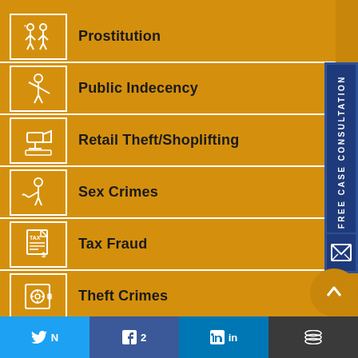Prostitution
Public Indecency
Retail Theft/Shoplifting
Sex Crimes
Tax Fraud
Theft Crimes
Traffic Violations
[Figure (infographic): Blue vertical sidebar button with text FREE CASE CONSULTATION and envelope icon]
[Figure (infographic): Orange circular scroll-up button with arrow icon]
[Figure (infographic): Social share bar with Twitter, Facebook (2 shares), LinkedIn, and Layers buttons]